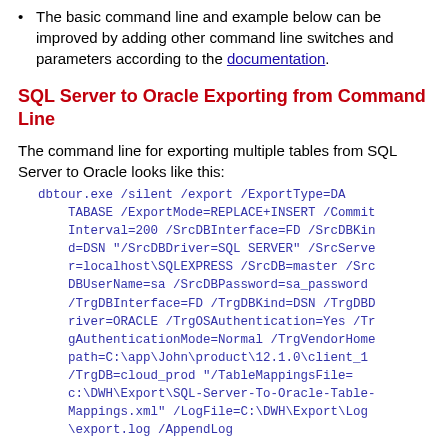The basic command line and example below can be improved by adding other command line switches and parameters according to the documentation.
SQL Server to Oracle Exporting from Command Line
The command line for exporting multiple tables from SQL Server to Oracle looks like this:
dbtour.exe /silent /export /ExportType=DATABASE /ExportMode=REPLACE+INSERT /CommitInterval=200 /SrcDBInterface=FD /SrcDBKind=DSN "/SrcDBDriver=SQL SERVER" /SrcServer=localhost\SQLEXPRESS /SrcDB=master /SrcDBUserName=sa /SrcDBPassword=sa_password /TrgDBInterface=FD /TrgDBKind=DSN /TrgDBDriver=ORACLE /TrgOSAuthentication=Yes /TrgAuthenticationMode=Normal /TrgVendorHomepath=C:\app\John\product\12.1.0\client_1 /TrgDB=cloud_prod "/TableMappingsFile=c:\DWH\Export\SQL-Server-To-Oracle-Table-Mappings.xml" /LogFile=C:\DWH\Export\Log\export.log /AppendLog